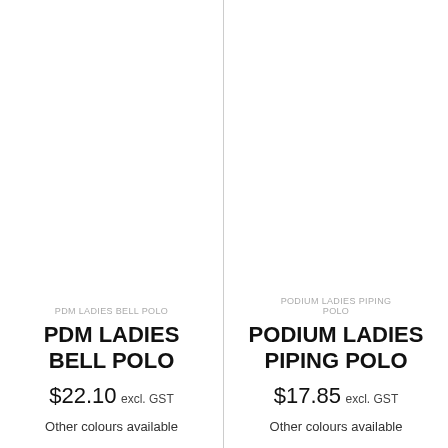[Figure (photo): Product image area for PDM Ladies Bell Polo (blank/white space)]
PDM LADIES BELL POLO
PDM LADIES BELL POLO
$22.10 excl. GST
Other colours available
[Figure (photo): Product image area for Podium Ladies Piping Polo (blank/white space)]
PODIUM LADIES PIPING POLO
PODIUM LADIES PIPING POLO
$17.85 excl. GST
Other colours available